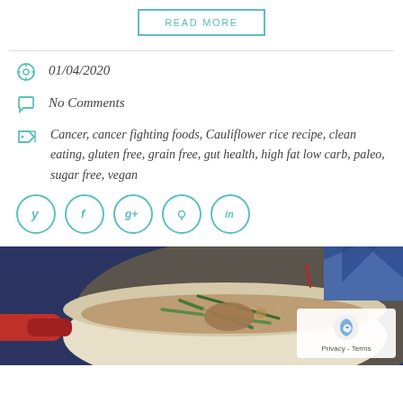READ MORE
01/04/2020
No Comments
Cancer, cancer fighting foods, Cauliflower rice recipe, clean eating, gluten free, grain free, gut health, high fat low carb, paleo, sugar free, vegan
[Figure (infographic): Social media share buttons: Twitter, Facebook, Google+, Pinterest, LinkedIn — teal circle outlines]
[Figure (photo): Photo of a soup or stew in a red-handled white Dutch oven pot with green beans and broth, on a blue patterned surface]